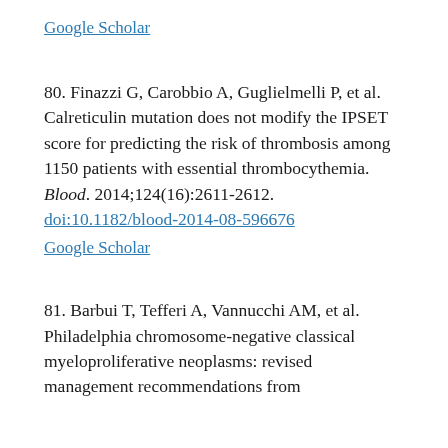Google Scholar
80. Finazzi G, Carobbio A, Guglielmelli P, et al. Calreticulin mutation does not modify the IPSET score for predicting the risk of thrombosis among 1150 patients with essential thrombocythemia. Blood. 2014;124(16):2611-2612. doi:10.1182/blood-2014-08-596676
Google Scholar
81. Barbui T, Tefferi A, Vannucchi AM, et al. Philadelphia chromosome-negative classical myeloproliferative neoplasms: revised management recommendations from